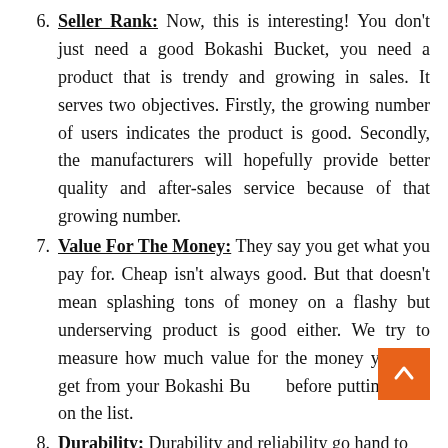Seller Rank: Now, this is interesting! You don't just need a good Bokashi Bucket, you need a product that is trendy and growing in sales. It serves two objectives. Firstly, the growing number of users indicates the product is good. Secondly, the manufacturers will hopefully provide better quality and after-sales service because of that growing number.
Value For The Money: They say you get what you pay for. Cheap isn't always good. But that doesn't mean splashing tons of money on a flashy but underserving product is good either. We try to measure how much value for the money you can get from your Bokashi Bucket before putting them on the list.
Durability: Durability and reliability go hand to